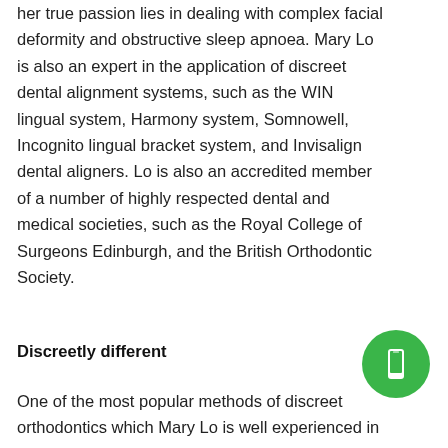her true passion lies in dealing with complex facial deformity and obstructive sleep apnoea. Mary Lo is also an expert in the application of discreet dental alignment systems, such as the WIN lingual system, Harmony system, Somnowell, Incognito lingual bracket system, and Invisalign dental aligners. Lo is also an accredited member of a number of highly respected dental and medical societies, such as the Royal College of Surgeons Edinburgh, and the British Orthodontic Society.
Discreetly different
One of the most popular methods of discreet orthodontics which Mary Lo is well experienced in fitting for a number of